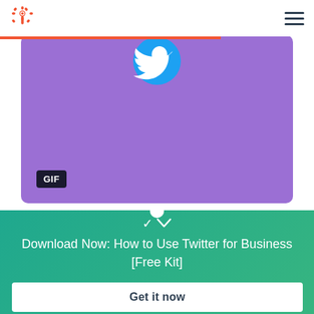HubSpot navigation bar with logo and hamburger menu
[Figure (screenshot): Purple card with Twitter bird icon and GIF badge at bottom left, showing a social media GIF preview on a purple background]
Download Now: How to Use Twitter for Business [Free Kit]
Get it now